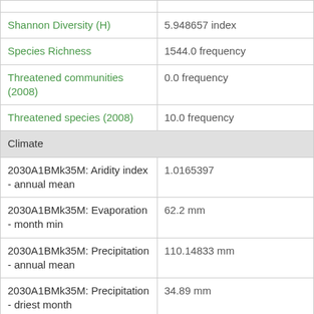| Property | Value |
| --- | --- |
| Shannon Diversity (H) | 5.948657 index |
| Species Richness | 1544.0 frequency |
| Threatened communities (2008) | 0.0 frequency |
| Threatened species (2008) | 10.0 frequency |
| Climate |  |
| 2030A1BMk35M: Aridity index - annual mean | 1.0165397 |
| 2030A1BMk35M: Evaporation - month min | 62.2 mm |
| 2030A1BMk35M: Precipitation - annual mean | 110.14833 mm |
| 2030A1BMk35M: Precipitation - driest month | 34.89 mm |
| 2030A1BMk35M: Precipitation - equinox seasonality ratio | 0.43687192 |